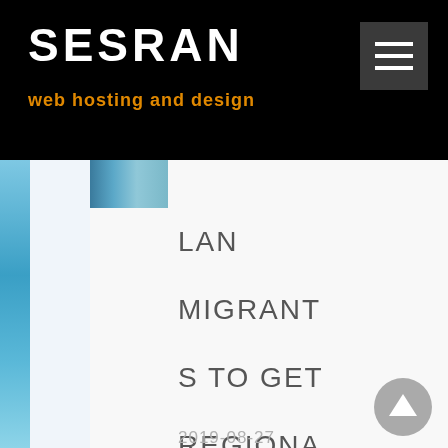SESRAN
web hosting and design
[Figure (screenshot): Hamburger menu button icon with three horizontal white lines on dark gray background]
[Figure (photo): Small thumbnail photo of a person or scene, partially visible at top]
LAN MIGRANTS TO GET REGIONAL VACCINATION CARDS UNDER 10-NATION PACT
2019-08-27